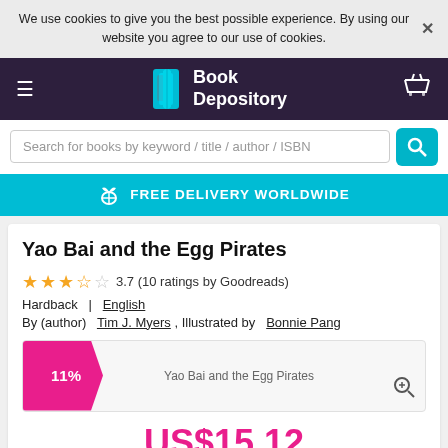We use cookies to give you the best possible experience. By using our website you agree to our use of cookies.
[Figure (logo): Book Depository logo with teal open book icon and white text on dark purple background]
Search for books by keyword / title / author / ISBN
FREE DELIVERY WORLDWIDE
Yao Bai and the Egg Pirates
3.7 (10 ratings by Goodreads)
Hardback  |  English
By (author)  Tim J. Myers , Illustrated by  Bonnie Pang
[Figure (photo): Book cover image for Yao Bai and the Egg Pirates with 11% discount badge]
US$15.12
US$16.99  |  You save US$1.87